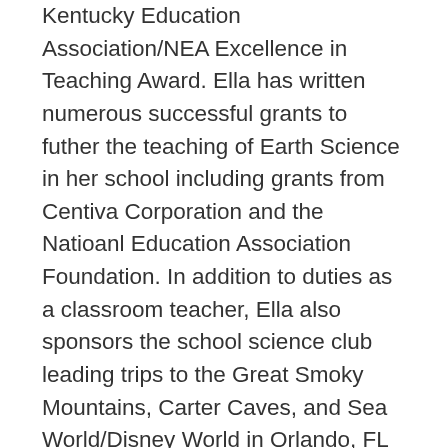Kentucky Education Association/NEA Excellence in Teaching Award. Ella has written numerous successful grants to futher the teaching of Earth Science in her school including grants from Centiva Corporation and the Natioanl Education Association Foundation. In addition to duties as a classroom teacher, Ella also sponsors the school science club leading trips to the Great Smoky Mountains, Carter Caves, and Sea World/Disney World in Orlando, FL as well as adventures in canoeing on the Licking River, fossil hunting in the expansive road cuts in the region that are rich in Ordovician fossils, and geocaching in local nature preserves. In addition to this, her passion for geology has often led her on various adventures adding to her personal rock and fossil collection that is a remarkable asset to her classroom teaching! In her spare time, Ella enjoys working on the family farm with her husband and son where they raise beef cattle. She